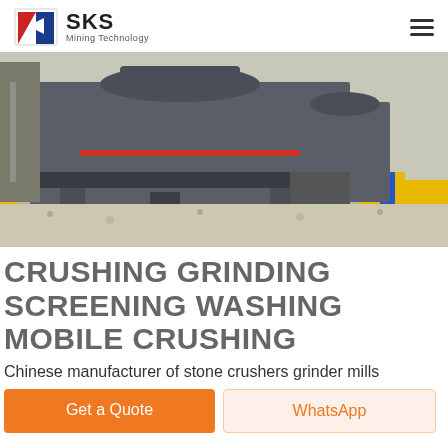SKS Mining Technology
[Figure (photo): Industrial mining crusher/grinding machine in a factory setting, large grey metal equipment on gravel floor, with yellow and blue painted barriers in background]
CRUSHING GRINDING SCREENING WASHING MOBILE CRUSHING
Chinese manufacturer of stone crushers grinder mills
Get a Quote | WhatsApp